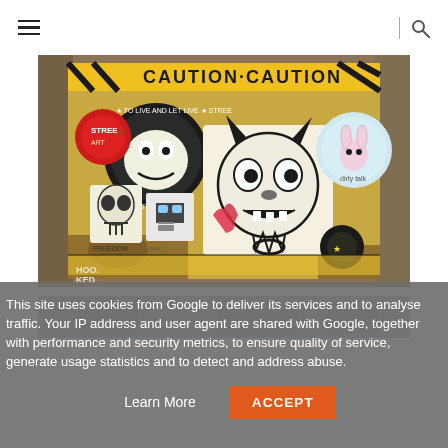Navigation header with hamburger menu and search icon
[Figure (photo): A rusted metal sign or surface covered with various street art stickers including cartoon characters, skull faces, a monster/demon drawing, caution tape pattern in yellow and black, and a watermark reading 'HOO.KED']
[Figure (photo): Partially visible second photo below, gray/blue toned]
This site uses cookies from Google to deliver its services and to analyse traffic. Your IP address and user agent are shared with Google, together with performance and security metrics, to ensure quality of service, generate usage statistics and to detect and address abuse.
Learn More
ACCEPT